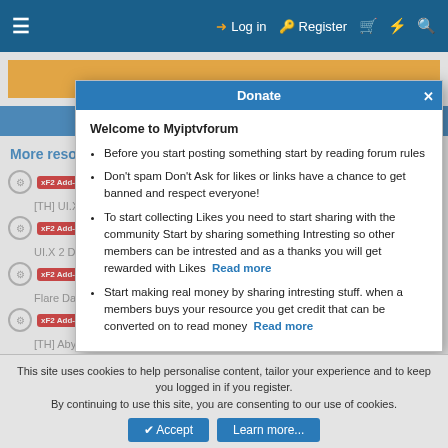≡  Log in  Register  🛒  ⚡  🔍
[Figure (screenshot): Orange donation banner partially visible behind modal]
More resources from
[TH] UI.X Classic Dark — xF2 Add-on VIP
UI.X 2 Dark — xF2 Add-on VIP
Flare Dark — xF2 Add-on VIP
[TH] Abyss — xF2 Add-on VIP
[DigitalPoint] Better Google Analytics 1.0.6 — xF2 Add-on
Donate — Welcome to Myiptvforum
Before you start posting something start by reading forum rules
Don't spam Don't Ask for likes or links have a chance to get banned and respect everyone!
To start collecting Likes you need to start sharing with the community Start by sharing something Intresting so other members can be intrested and as a thanks you will get rewarded with Likes Read more
Start making real money by sharing intresting stuff. when a members buys your resource you get credit that can be converted on to read money Read more
This site uses cookies to help personalise content, tailor your experience and to keep you logged in if you register.
By continuing to use this site, you are consenting to our use of cookies.